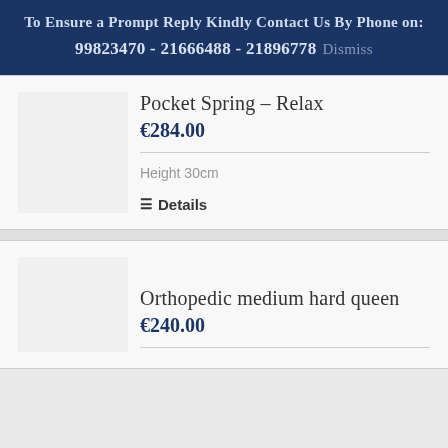To Ensure a Prompt Reply Kindly Contact Us By Phone on:
99823470 - 21666488 - 21896778  Dismiss
Pocket Spring – Relax
€284.00
Height 30cm
Details
Orthopedic medium hard queen
€240.00